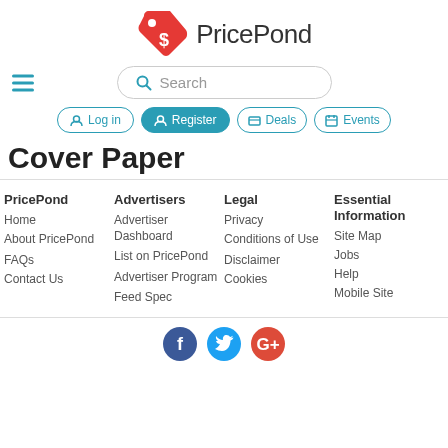[Figure (logo): PricePond logo with red price tag icon and 'PricePond' text]
[Figure (screenshot): Search bar with magnifying glass icon and placeholder text 'Search', hamburger menu icon on left]
[Figure (screenshot): Navigation buttons: Log in, Register (active/filled), Deals, Events]
Cover Paper
PricePond
Home
About PricePond
FAQs
Contact Us
Advertisers
Advertiser Dashboard
List on PricePond
Advertiser Program
Feed Spec
Legal
Privacy
Conditions of Use
Disclaimer
Cookies
Essential Information
Site Map
Jobs
Help
Mobile Site
[Figure (illustration): Social media icons: Facebook (blue), Twitter (light blue), Google+ (red)]